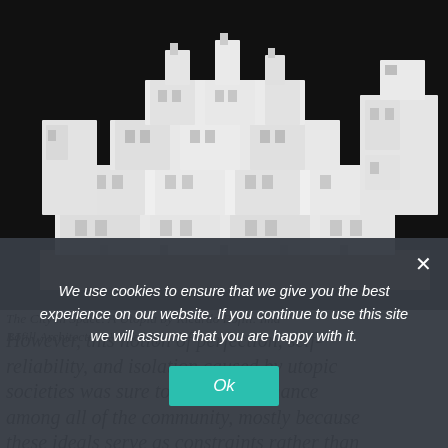[Figure (photo): Architectural scale model of a stacked white modular building complex (The City in Space by Ricardo Bofill), photographed against a dark background.]
The City in Space. A Utopia by Ricardo Bofill. Image from Bofill Architecture Workshop
However, this notion of perfection, self-reliability, and isolation caused by utopic societies was sure to create dissonance among all of the community, mostly because these ideals serve as constraints rather than
We use cookies to ensure that we give you the best experience on our website. If you continue to use this site we will assume that you are happy with it.
Ok